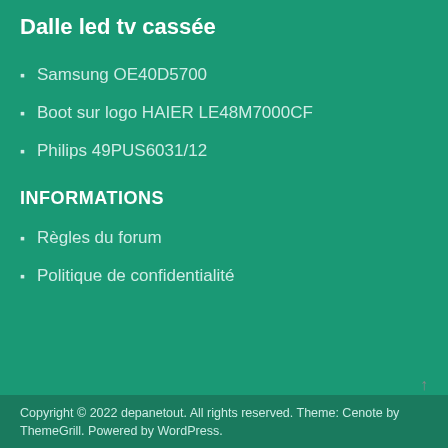Dalle led tv cassée
Samsung OE40D5700
Boot sur logo HAIER LE48M7000CF
Philips 49PUS6031/12
INFORMATIONS
Règles du forum
Politique de confidentialité
Copyright © 2022 depanetout. All rights reserved. Theme: Cenote by ThemeGrill. Powered by WordPress.